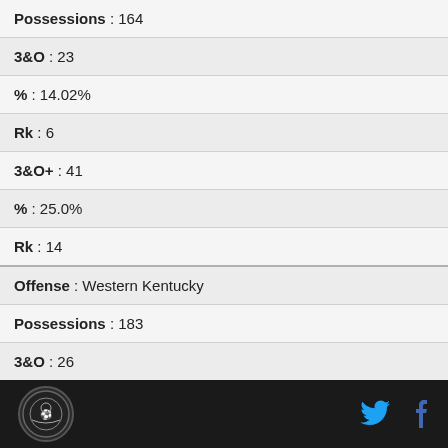| Possessions : 164 |
| 3&O : 23 |
| % : 14.02% |
| Rk : 6 |
| 3&O+ : 41 |
| % : 25.0% |
| Rk : 14 |
| Offense : Western Kentucky |
| Possessions : 183 |
| 3&O : 26 |
| % : 14.21% |
Logo | Twitter | Facebook